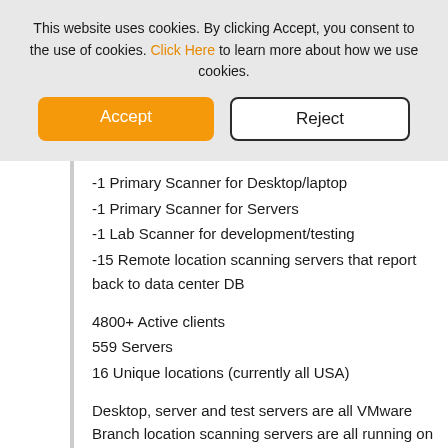This website uses cookies. By clicking Accept, you consent to the use of cookies. Click Here to learn more about how we use cookies.
-1 Primary Scanner for Desktop/laptop
-1 Primary Scanner for Servers
-1 Lab Scanner for development/testing
-15 Remote location scanning servers that report back to data center DB
4800+ Active clients
559 Servers
16 Unique locations (currently all USA)
Desktop, server and test servers are all VMware
Branch location scanning servers are all running on appliance